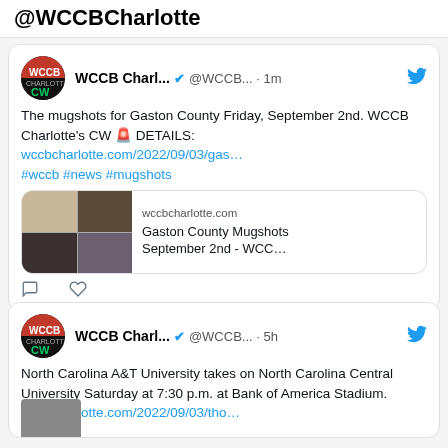@WCCBCharlotte
WCCB Charl... ✓ @WCCB... · 1m
The mugshots for Gaston County Friday, September 2nd. WCCB Charlotte's CW 🚨 DETAILS:
wccbcharlotte.com/2022/09/03/gas…
#wccb #news #mugshots
[Figure (screenshot): Preview card showing mugshots grid with link to wccbcharlotte.com - Gaston County Mugshots September 2nd - WCC...]
WCCB Charl... ✓ @WCCB... · 5h
North Carolina A&T University takes on North Carolina Central University Saturday at 7:30 p.m. at Bank of America Stadium.
wccbcharlotte.com/2022/09/03/tho…